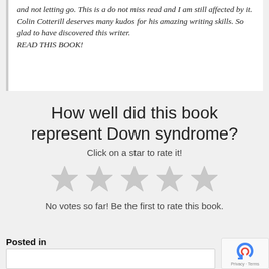and not letting go. This is a do not miss read and I am still affected by it. Colin Cotterill deserves many kudos for his amazing writing skills. So glad to have discovered this writer. READ THIS BOOK!
How well did this book represent Down syndrome?
Click on a star to rate it!
[Figure (other): Five grey star rating icons in a row]
No votes so far! Be the first to rate this book.
Posted in